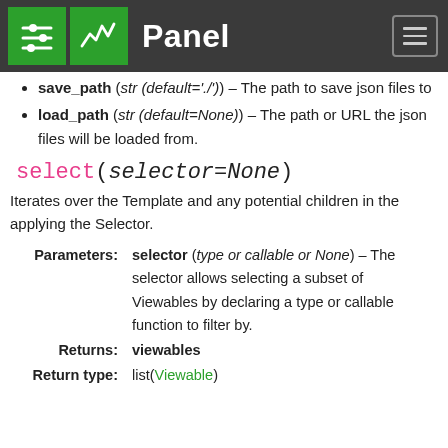Panel
save_path (str (default='./')) – The path to save json files to
load_path (str (default=None)) – The path or URL the json files will be loaded from.
select(selector=None)
Iterates over the Template and any potential children in the applying the Selector.
|  |  |
| --- | --- |
| Parameters: | selector (type or callable or None) – The selector allows selecting a subset of Viewables by declaring a type or callable function to filter by. |
| Returns: | viewables |
| Return type: | list(Viewable) |